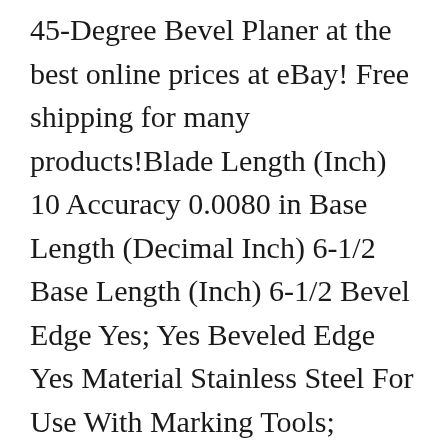45-Degree Bevel Planer at the best online prices at eBay! Free shipping for many products!Blade Length (Inch) 10 Accuracy 0.0080 in Base Length (Decimal Inch) 6-1/2 Base Length (Inch) 6-1/2 Bevel Edge Yes; Yes Beveled Edge Yes Material Stainless Steel For Use With Marking Tools; Marking Tools Features Heavy Duty Adjustable Stainless Steel Blade; High-Torque Locking Lever Accuracy (mm) 0.0080 in Accuracy (Decimal Inch) 0.0080 in; 0... The beveled